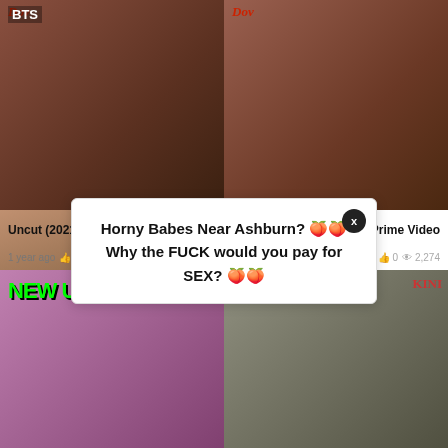[Figure (photo): Top-left thumbnail: couple kissing, BTS label, red text logo top]
[Figure (photo): Top-right thumbnail: couple kissing, red text logo top]
[Figure (screenshot): Popup ad: Horny Babes Near Ashburn? Why the FUCK would you pay for SEX?]
Uncut (2021) Sexy Desi Porn
1 year ago   0   1,398
XPrime Video
1 year ago   0   2,274
[Figure (photo): Bottom-left thumbnail: NEW UNCUT green text, purple background, couple]
[Figure (photo): Bottom-right thumbnail: room scene, Kini logo]